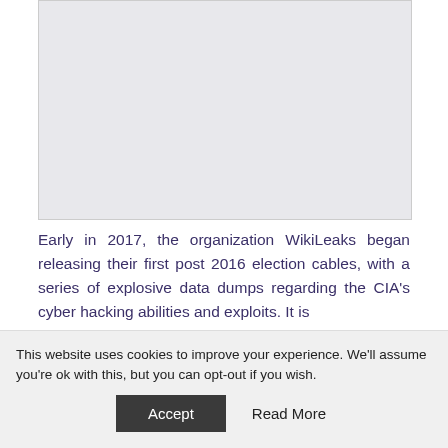[Figure (photo): Gray placeholder image area for an article photo]
Early in 2017, the organization WikiLeaks began releasing their first post 2016 election cables, with a series of explosive data dumps regarding the CIA's cyber hacking abilities and exploits. It is
This website uses cookies to improve your experience. We'll assume you're ok with this, but you can opt-out if you wish.
Accept   Read More